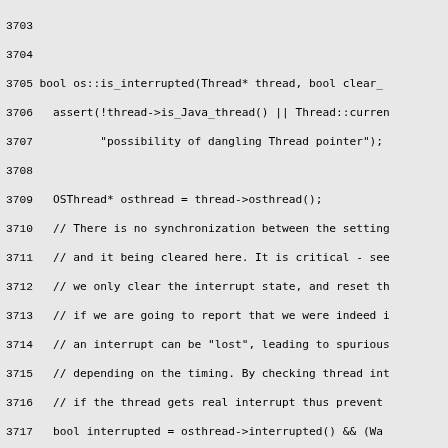Source code listing lines 3703-3733, showing os::is_interrupted and os::get_thread_pc C++ functions